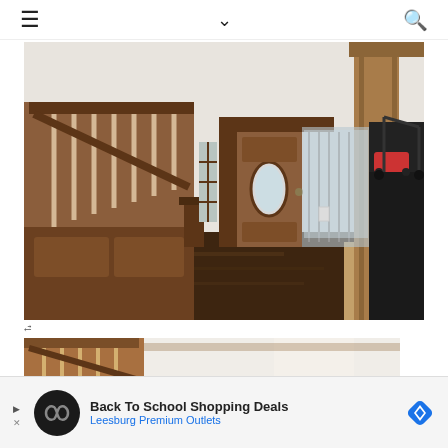Navigation bar with hamburger menu, chevron, and search icon
[Figure (photo): Interior foyer of an older home showing a wooden staircase with turned balusters on the left, ornate carved wooden front door with oval glass panel in the center, a security door open to the outside, dark hardwood floors, white walls, and a black dresser with children's items on the right.]
[Figure (photo): Partial view of a staircase interior, showing wooden railing and balusters, white walls, bright natural light from above.]
[Figure (photo): Advertisement banner: Back To School Shopping Deals - Leesburg Premium Outlets, with Infinity logo and blue diamond navigation icon.]